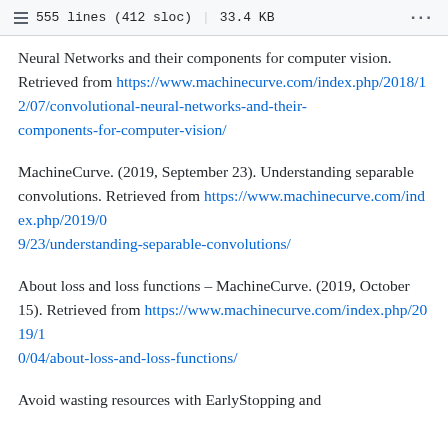555 lines (412 sloc) | 33.4 KB
Neural Networks and their components for computer vision. Retrieved from https://www.machinecurve.com/index.php/2018/12/07/convolutional-neural-networks-and-their-components-for-computer-vision/
MachineCurve. (2019, September 23). Understanding separable convolutions. Retrieved from https://www.machinecurve.com/index.php/2019/09/23/understanding-separable-convolutions/
About loss and loss functions – MachineCurve. (2019, October 15). Retrieved from https://www.machinecurve.com/index.php/2019/10/04/about-loss-and-loss-functions/
Avoid wasting resources with EarlyStopping and